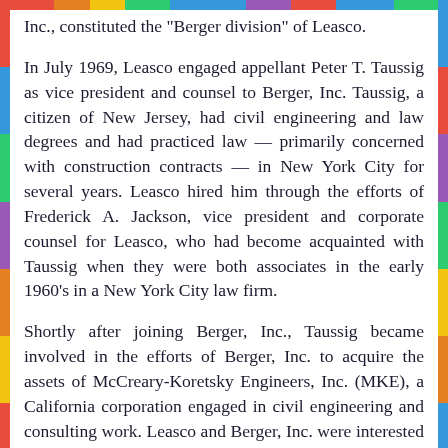Inc., constituted the "Berger division" of Leasco.
In July 1969, Leasco engaged appellant Peter T. Taussig as vice president and counsel to Berger, Inc. Taussig, a citizen of New Jersey, had civil engineering and law degrees and had practiced law — primarily concerned with construction contracts — in New York City for several years. Leasco hired him through the efforts of Frederick A. Jackson, vice president and corporate counsel for Leasco, who had become acquainted with Taussig when they were both associates in the early 1960's in a New York City law firm.
Shortly after joining Berger, Inc., Taussig became involved in the efforts of Berger, Inc. to acquire the assets of McCreary-Koretsky Engineers, Inc. (MKE), a California corporation engaged in civil engineering and consulting work. Leasco and Berger, Inc. were interested in acquiring MKE's assets in order to expand Leasco's "Berger division" and to increase its affiliates. I and